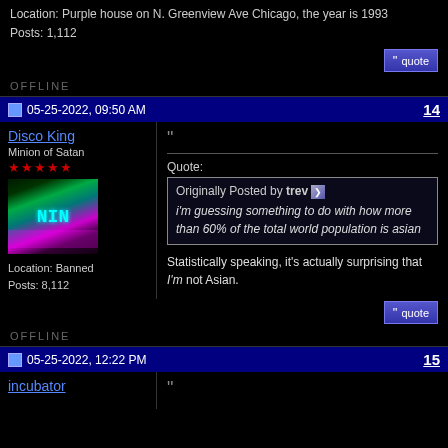Location: Purple house on N. Greenview Ave Chicago, the year is 1993
Posts: 1,112
OFFLINE
05-25-2022, 09:50 AM
14
Disco King
Minion of Satan
★★★★★
[Figure (photo): Forum avatar with neon green/purple/cyan sci-fi graphic showing NIN text]
Location: Banned
Posts: 8,112
Quote:
Originally Posted by trev
i'm guessing something to do with how more than 60% of the total world population is asian
Statistically speaking, it's actually surprising that I'm not Asian.
OFFLINE
05-25-2022, 12:22 PM
15
incubator